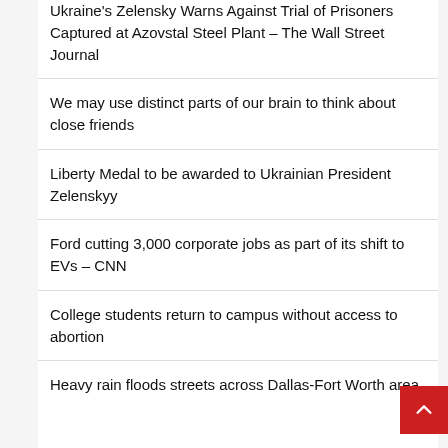Ukraine's Zelensky Warns Against Trial of Prisoners Captured at Azovstal Steel Plant – The Wall Street Journal
We may use distinct parts of our brain to think about close friends
Liberty Medal to be awarded to Ukrainian President Zelenskyy
Ford cutting 3,000 corporate jobs as part of its shift to EVs – CNN
College students return to campus without access to abortion
Heavy rain floods streets across Dallas-Fort Worth area